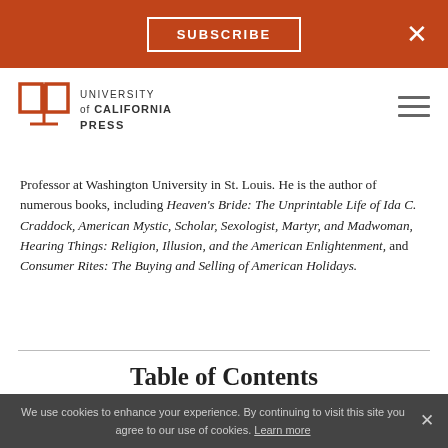SUBSCRIBE  ×
[Figure (logo): University of California Press logo with open book icon and text]
Professor at Washington University in St. Louis. He is the author of numerous books, including Heaven's Bride: The Unprintable Life of Ida C. Craddock, American Mystic, Scholar, Sexologist, Martyr, and Madwoman, Hearing Things: Religion, Illusion, and the American Enlightenment, and Consumer Rites: The Buying and Selling of American Holidays.
Table of Contents
We use cookies to enhance your experience. By continuing to visit this site you agree to our use of cookies. Learn more  ×